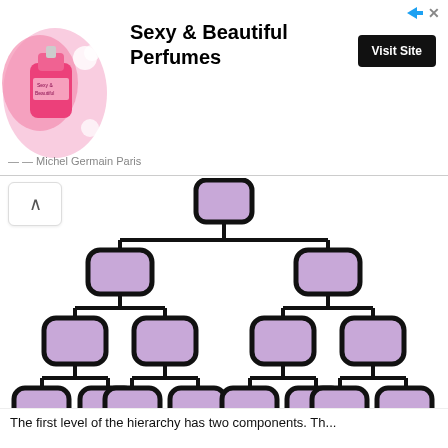[Figure (infographic): Advertisement banner for Michel Germain Paris 'Sexy & Beautiful Perfumes' with pink perfume bottle image, bold title text, and 'Visit Site' button]
[Figure (organizational-chart): A three-level organizational chart (tree structure) with purple/lavender rounded rectangle nodes. One root node at top, two children in second level, four nodes in third level (two under each second-level node), and eight leaf nodes in the bottom level (two under each third-level node). No text labels on nodes.]
The first level of the hierarchy has two components. Th...